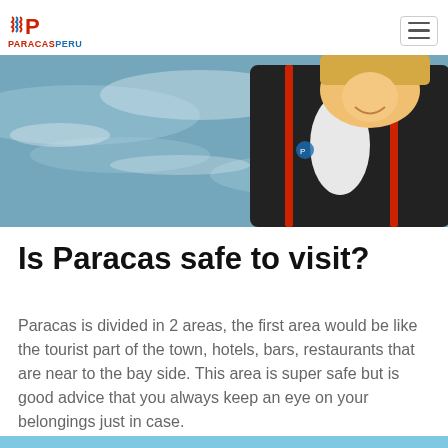PARACAS PERU
[Figure (photo): Woman in a dark blue and red fleece jacket laughing near the ocean with waves in background]
Is Paracas safe to visit?
Paracas is divided in 2 areas, the first area would be like the tourist part of the town, hotels, bars, restaurants that are near to the bay side. This area is super safe but is good advice that you always keep an eye on your belongings just in case.